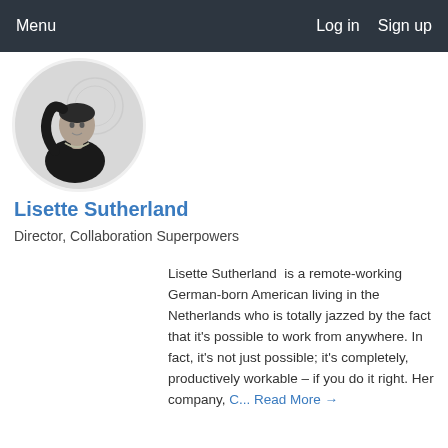Menu    Log in    Sign up
[Figure (photo): Black and white circular profile photo of Lisette Sutherland, a woman in a black outfit with a necklace, raising one arm]
Lisette Sutherland
Director, Collaboration Superpowers
Lisette Sutherland  is a remote-working German-born American living in the Netherlands who is totally jazzed by the fact that it's possible to work from anywhere. In fact, it's not just possible; it's completely, productively workable – if you do it right. Her company, C...  Read More →